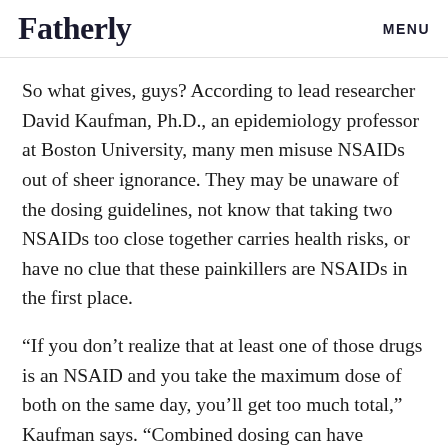Fatherly    MENU
So what gives, guys? According to lead researcher David Kaufman, Ph.D., an epidemiology professor at Boston University, many men misuse NSAIDs out of sheer ignorance. They may be unaware of the dosing guidelines, not know that taking two NSAIDs too close together carries health risks, or have no clue that these painkillers are NSAIDs in the first place.
“If you don’t realize that at least one of those drugs is an NSAID and you take the maximum dose of both on the same day, you’ll get too much total,” Kaufman says. “Combined dosing can have adverse effects,